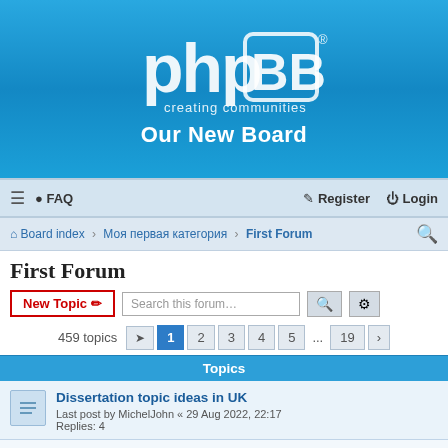[Figure (logo): phpBB logo with text 'creating communities' on blue gradient background]
Our New Board
≡  FAQ    Register  Login
Board index › Моя первая категория › First Forum
First Forum
New Topic  Search this forum…
459 topics  1 2 3 4 5 ... 19 ›
Topics
Dissertation topic ideas in UK
Last post by MichelJohn « 29 Aug 2022, 22:17
Replies: 4
Assignment writing service Dublin
Last post by assignmenthelp « 29 Aug 2022, 05:39
Read What exactly is ISRO's new SSLV, and why is it significant?